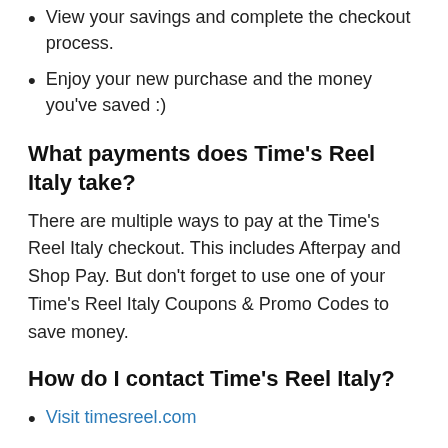View your savings and complete the checkout process.
Enjoy your new purchase and the money you've saved :)
What payments does Time's Reel Italy take?
There are multiple ways to pay at the Time's Reel Italy checkout. This includes Afterpay and Shop Pay. But don't forget to use one of your Time's Reel Italy Coupons & Promo Codes to save money.
How do I contact Time's Reel Italy?
Visit timesreel.com
Instagram